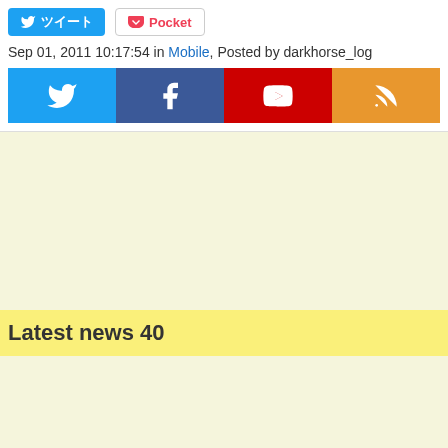[Figure (other): Share buttons row: Twitter (blue) and Pocket (white/red) buttons]
Sep 01, 2011 10:17:54 in Mobile, Posted by darkhorse_log
[Figure (other): Social media icon buttons: Twitter (blue), Facebook (dark blue), YouTube (red), RSS (orange)]
[Figure (other): Advertisement space - blank cream/yellow background area]
Latest news 40
[Figure (other): Content area below Latest news 40 heading - blank cream background]